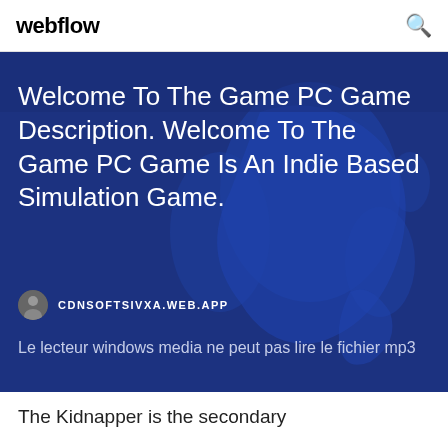webflow
Welcome To The Game PC Game Description. Welcome To The Game PC Game Is An Indie Based Simulation Game.
CDNSOFTSIVXA.WEB.APP
Le lecteur windows media ne peut pas lire le fichier mp3
The Kidnapper is the secondary